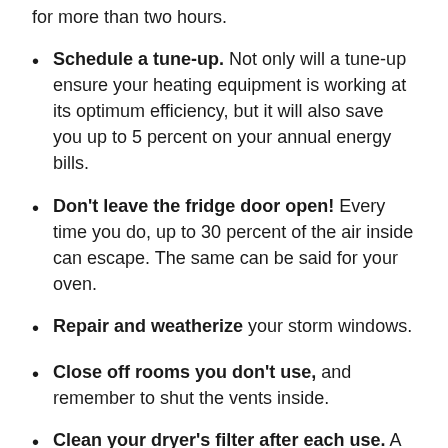for more than two hours.
Schedule a tune-up. Not only will a tune-up ensure your heating equipment is working at its optimum efficiency, but it will also save you up to 5 percent on your annual energy bills.
Don't leave the fridge door open! Every time you do, up to 30 percent of the air inside can escape. The same can be said for your oven.
Repair and weatherize your storm windows.
Close off rooms you don't use, and remember to shut the vents inside.
Clean your dryer's filter after each use. A clean dryer filter will allow your dryer to work more efficiently. Dryer filters full of lint will cause your dryer to work harder and longer, using more